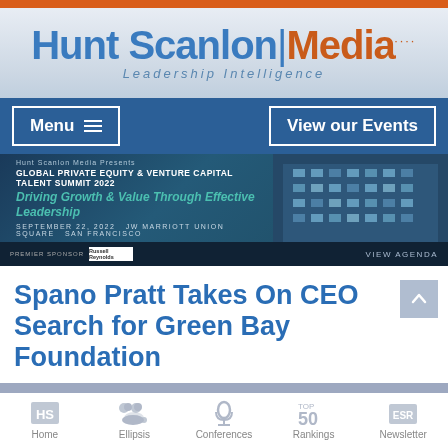[Figure (logo): Hunt Scanlon Media Leadership Intelligence logo with blue text and orange accent]
[Figure (screenshot): Navigation bar with Menu and View our Events buttons on dark blue background]
[Figure (infographic): Global Private Equity & Venture Capital Talent Summit 2022 banner - Driving Growth & Value Through Effective Leadership, September 22, 2022, JW Marriott Union Square, San Francisco]
Spano Pratt Takes On CEO Search for Green Bay Foundation
[Figure (infographic): Bottom navigation bar with Home, Ellipsis, Conferences, Rankings, Newsletter icons]